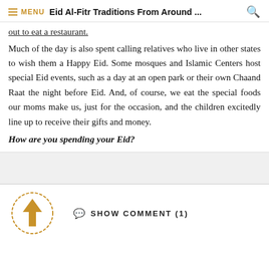≡ MENU   Eid Al-Fitr Traditions From Around ...   🔍
out to eat a restaurant.
Much of the day is also spent calling relatives who live in other states to wish them a Happy Eid. Some mosques and Islamic Centers host special Eid events, such as a day at an open park or their own Chaand Raat the night before Eid. And, of course, we eat the special foods our moms make us, just for the occasion, and the children excitedly line up to receive their gifts and money.
How are you spending your Eid?
[Figure (other): Upvote button: a golden/tan upward arrow inside a dotted circle border]
SHOW COMMENT (1)